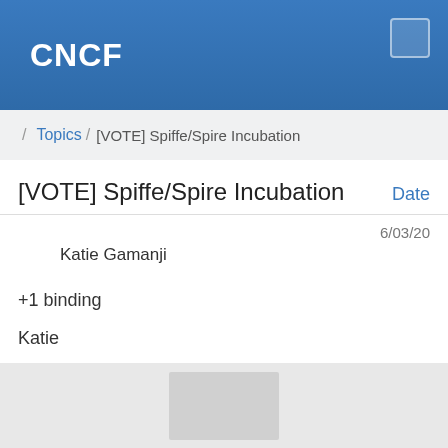CNCF
/ Topics / [VOTE] Spiffe/Spire Incubation
[VOTE] Spiffe/Spire Incubation
Date
6/03/20
Katie Gamanji
+1 binding
Katie
Show quoted text
More